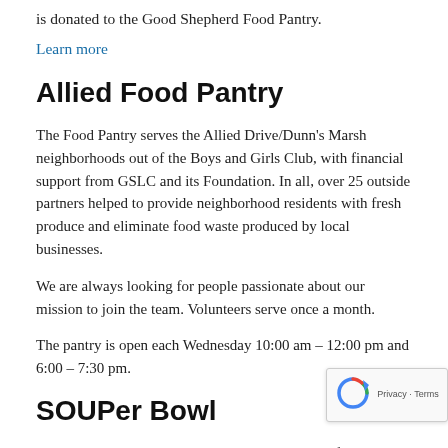is donated to the Good Shepherd Food Pantry.
Learn more
Allied Food Pantry
The Food Pantry serves the Allied Drive/Dunn's Marsh neighborhoods out of the Boys and Girls Club, with financial support from GSLC and its Foundation. In all, over 25 outside partners helped to provide neighborhood residents with fresh produce and eliminate food waste produced by local businesses.
We are always looking for people passionate about our mission to join the team. Volunteers serve once a month.
The pantry is open each Wednesday 10:00 am – 12:00 pm and 6:00 – 7:30 pm.
SOUPer Bowl
Every year leading up to Super Bowl Sunday, we fight hunger by holding our own SOUPer Bowl, where we hundreds of cans of soup to support our local food